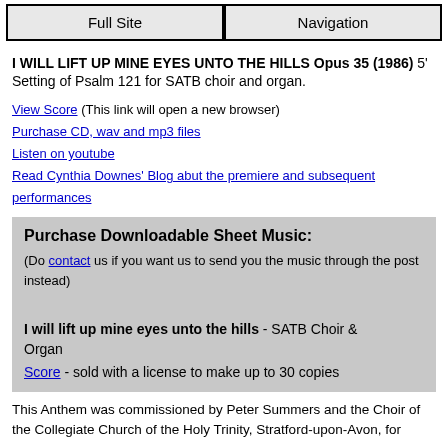Full Site | Navigation
I WILL LIFT UP MINE EYES UNTO THE HILLS Opus 35 (1986) 5'
Setting of Psalm 121 for SATB choir and organ.
View Score (This link will open a new browser)
Purchase CD, wav and mp3 files
Listen on youtube
Read Cynthia Downes' Blog abut the premiere and subsequent performances
Purchase Downloadable Sheet Music:
(Do contact us if you want us to send you the music through the post instead)
I will lift up mine eyes unto the hills - SATB Choir & Organ
Score - sold with a license to make up to 30 copies
This Anthem was commissioned by Peter Summers and the Choir of the Collegiate Church of the Holy Trinity, Stratford-upon-Avon, for